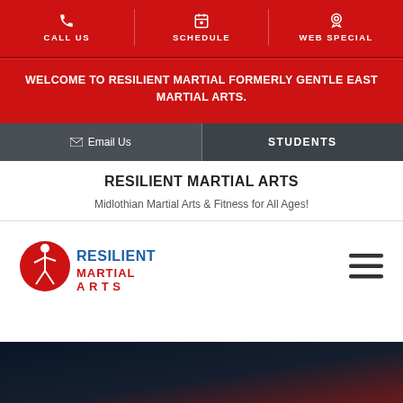CALL US | SCHEDULE | WEB SPECIAL
WELCOME TO RESILIENT MARTIAL FORMERLY GENTLE EAST MARTIAL ARTS.
Email Us | STUDENTS
RESILIENT MARTIAL ARTS
Midlothian Martial Arts & Fitness for All Ages!
[Figure (logo): Resilient Martial Arts logo with a martial artist silhouette and red/blue text]
[Figure (other): Hamburger menu icon (three horizontal lines)]
[Figure (photo): Dark blue and red gradient hero image background at the bottom of the page]